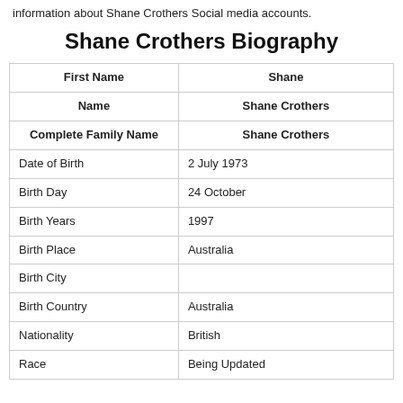information about Shane Crothers Social media accounts.
Shane Crothers Biography
| First Name | Shane |
| Name | Shane Crothers |
| Complete Family Name | Shane Crothers |
| Date of Birth | 2 July 1973 |
| Birth Day | 24 October |
| Birth Years | 1997 |
| Birth Place | Australia |
| Birth City |  |
| Birth Country | Australia |
| Nationality | British |
| Race | Being Updated |